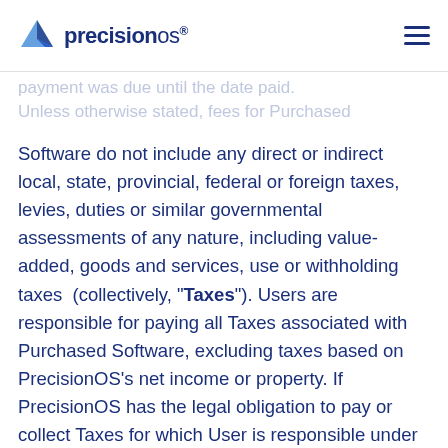precisionOS
payment was due until the date paid.
Unless otherwise stated, fees for Purchased
Software do not include any direct or indirect local, state, provincial, federal or foreign taxes, levies, duties or similar governmental assessments of any nature, including value-added, goods and services, use or withholding taxes (collectively, "Taxes"). Users are responsible for paying all Taxes associated with Purchased Software, excluding taxes based on PrecisionOS's net income or property. If PrecisionOS has the legal obligation to pay or collect Taxes for which User is responsible under this section, the appropriate amount shall be invoiced to and paid by User.